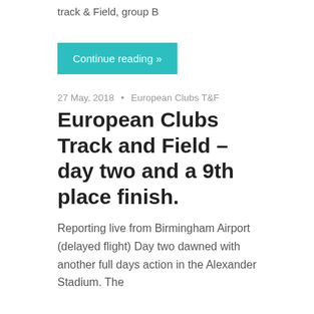track & Field, group B
Continue reading »
27 May, 2018  •  European Clubs T&F
European Clubs Track and Field – day two and a 9th place finish.
Reporting live from Birmingham Airport (delayed flight) Day two dawned with another full days action in the Alexander Stadium. The
Continue reading »
26 May, 2018  •  European Clubs T&F